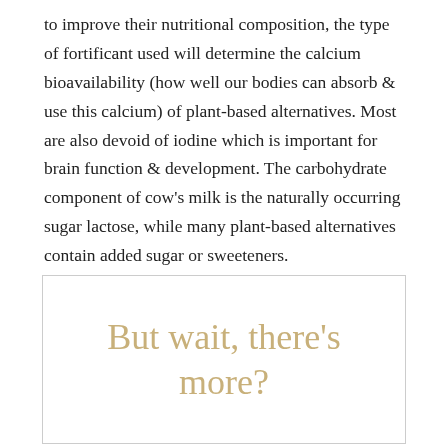to improve their nutritional composition, the type of fortificant used will determine the calcium bioavailability (how well our bodies can absorb & use this calcium) of plant-based alternatives. Most are also devoid of iodine which is important for brain function & development. The carbohydrate component of cow's milk is the naturally occurring sugar lactose, while many plant-based alternatives contain added sugar or sweeteners.
But wait, there's more?